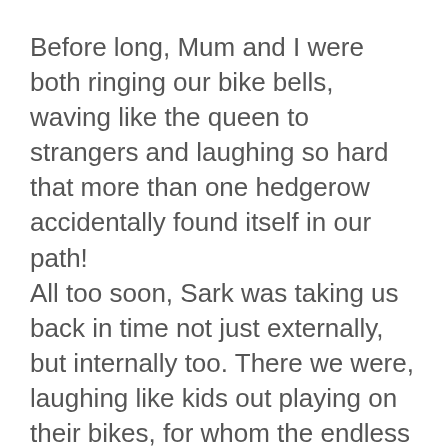Before long, Mum and I were both ringing our bike bells, waving like the queen to strangers and laughing so hard that more than one hedgerow accidentally found itself in our path!
All too soon, Sark was taking us back in time not just externally, but internally too. There we were, laughing like kids out playing on their bikes, for whom the endless summer days seem to stretch before them like a never-ending dream.
Trust me if you’re stressed when you arrive on Sark, you won’t be for much longer.